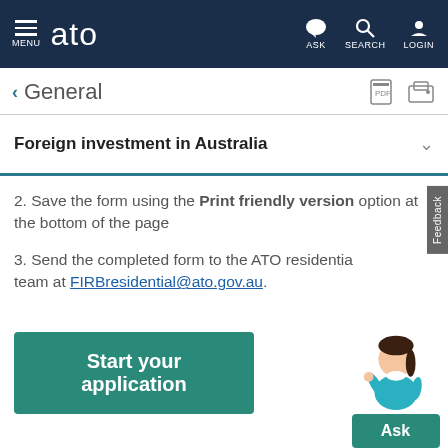MENU | ato | ASK | SEARCH | LOGIN
< General
Foreign investment in Australia
2. Save the form using the Print friendly version option at the bottom of the page
3. Send the completed form to the ATO residential team at FIRBresidential@ato.gov.au.
Start your application
[Figure (illustration): ATO virtual assistant character with 'Ask' button below]